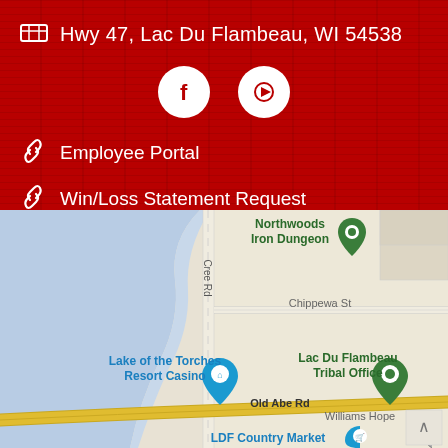Hwy 47, Lac Du Flambeau, WI 54538
[Figure (screenshot): Social media icons: Facebook (f) and YouTube/Play button circles in white on red background]
Employee Portal
Win/Loss Statement Request
[Figure (map): Google Maps screenshot showing Lake of the Torches Resort Casino area in Lac Du Flambeau, WI. Shows lake (blue), roads including Cree Rd, Chippewa St, Old Abe Rd, with location markers for Northwoods Iron Dungeon, Lake of the Torches Resort Casino, Lac Du Flambeau Tribal Office, Williams Hope, and LDF Country Market.]